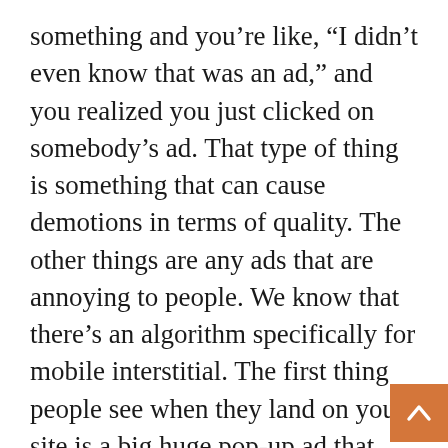something and you’re like, “I didn’t even know that was an ad,” and you realized you just clicked on somebody’s ad. That type of thing is something that can cause demotions in terms of quality. The other things are any ads that are annoying to people. We know that there’s an algorithm specifically for mobile interstitial. The first thing people see when they land on your site is a big huge pop-up ad that you can’t close, that can potentially cause a demotion. One of the things that are in the guidelines too is even if you have ads that have objectionable content and you’re not an adult site, it can lead to a reduction in rankings. One of the things that we love to do is get real people navigate through the site and seeing where are the
[Figure (other): Orange scroll-to-top button with upward chevron arrow in bottom-right corner]